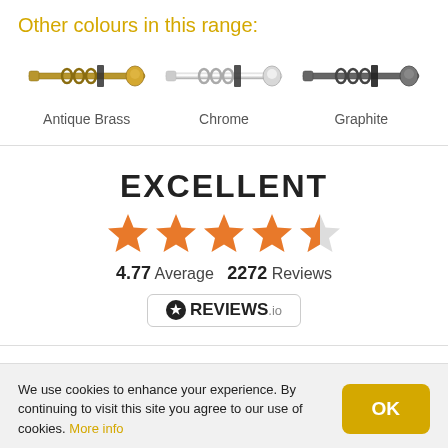Other colours in this range:
[Figure (illustration): Three curtain rods shown side by side: Antique Brass (gold/brass colored), Chrome (silver/chrome colored), Graphite (dark gray/graphite colored). Each rod has rings and decorative finials.]
Antique Brass    Chrome    Graphite
[Figure (infographic): EXCELLENT rating badge with 4.77 stars out of 5, 2272 Reviews, from REVIEWS.io]
We use cookies to enhance your experience. By continuing to visit this site you agree to our use of cookies. More info